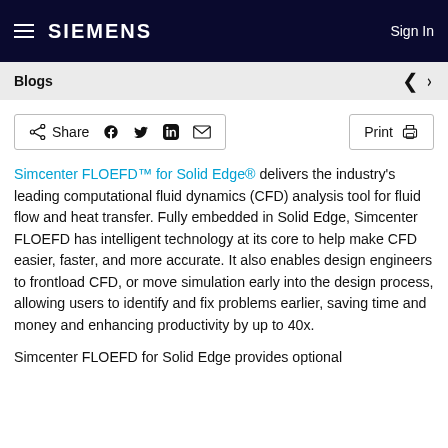SIEMENS  Sign In
Blogs
Share  Print
Simcenter FLOEFD™ for Solid Edge® delivers the industry's leading computational fluid dynamics (CFD) analysis tool for fluid flow and heat transfer. Fully embedded in Solid Edge, Simcenter FLOEFD has intelligent technology at its core to help make CFD easier, faster, and more accurate. It also enables design engineers to frontload CFD, or move simulation early into the design process, allowing users to identify and fix problems earlier, saving time and money and enhancing productivity by up to 40x.
Simcenter FLOEFD for Solid Edge provides optional